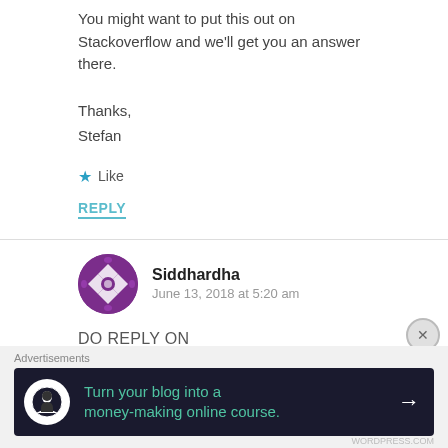You might want to put this out on Stackoverflow and we'll get you an answer there.
Thanks,
Stefan
★ Like
REPLY
Siddhardha
June 13, 2018 at 5:20 am
DO REPLY ON
Advertisements
Turn your blog into a money-making online course. →